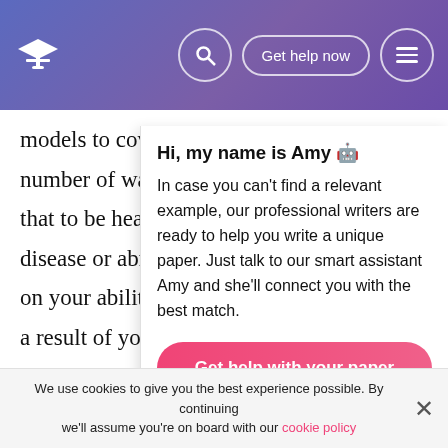[Figure (screenshot): Website navigation bar with gradient purple background, graduation cap logo on left, search icon, 'Get help now' button, and hamburger menu icon on right]
models to cover a wider number of ways in which that to be healthy you must disease or abnormality. C on your ability to satisfy t a result of your past, you your personal responsibi supports both the social a health.Sickness is defined whether people see themselves as ill or not, and those with power can choose whether to classify someone as ill.
Hi, my name is Amy 🤖
In case you can't find a relevant example, our professional writers are ready to help you write a unique paper. Just talk to our smart assistant Amy and she'll connect you with the best match.
Get help with your paper
We use cookies to give you the best experience possible. By continuing we'll assume you're on board with our cookie policy